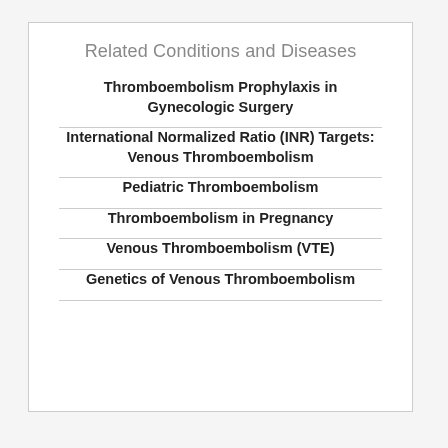Related Conditions and Diseases
Thromboembolism Prophylaxis in Gynecologic Surgery
International Normalized Ratio (INR) Targets: Venous Thromboembolism
Pediatric Thromboembolism
Thromboembolism in Pregnancy
Venous Thromboembolism (VTE)
Genetics of Venous Thromboembolism